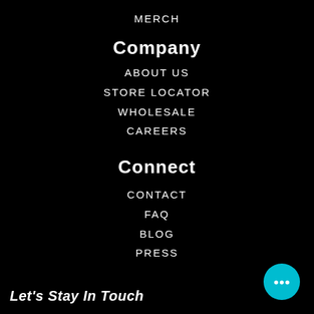MERCH
Company
ABOUT US
STORE LOCATOR
WHOLESALE
CAREERS
Connect
CONTACT
FAQ
BLOG
PRESS
Let's Stay In Touch
[Figure (illustration): Teal circular chat bubble icon with three dots, positioned bottom-right corner]